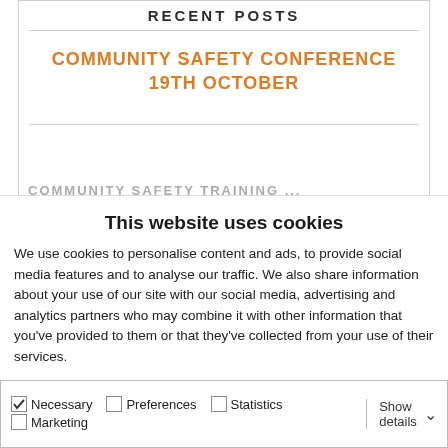RECENT POSTS
COMMUNITY SAFETY CONFERENCE 19TH OCTOBER
This website uses cookies
We use cookies to personalise content and ads, to provide social media features and to analyse our traffic. We also share information about your use of our site with our social media, advertising and analytics partners who may combine it with other information that you've provided to them or that they've collected from your use of their services.
Allow all cookies
Allow selection
Use necessary cookies only
Necessary  Preferences  Statistics  Marketing  Show details